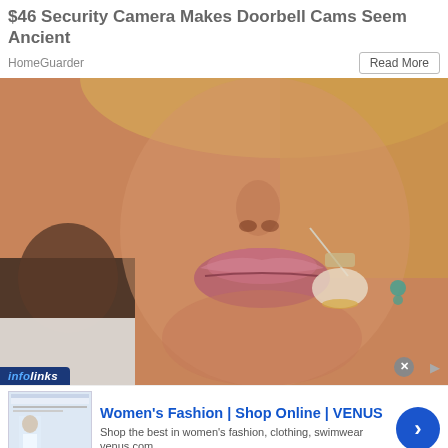$46 Security Camera Makes Doorbell Cams Seem Ancient
HomeGuarder
Read More
[Figure (photo): Close-up photo of a woman's face receiving a lip injection from a gloved hand holding a syringe. A man in white is visible on the left side. Infolinks branding badge on bottom-left.]
infolinks
[Figure (screenshot): Venus women's fashion ad thumbnail showing a woman in white outfit.]
Women's Fashion | Shop Online | VENUS
Shop the best in women's fashion, clothing, swimwear
venus.com